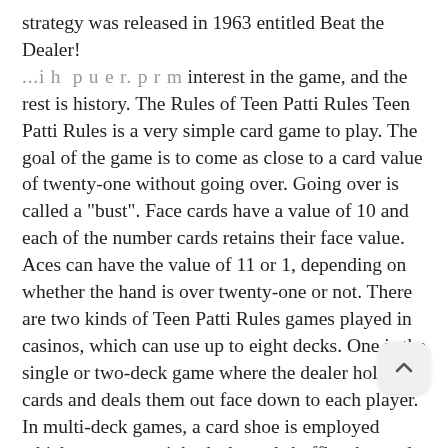strategy was released in 1963 entitled Beat the Dealer! ...i h p u e r. p r m interest in the game, and the rest is history. The Rules of Teen Patti Rules Teen Patti Rules is a very simple card game to play. The goal of the game is to come as close to a card value of twenty-one without going over. Going over is called a "bust". Face cards have a value of 10 and each of the number cards retains their face value. Aces can have the value of 11 or 1, depending on whether the hand is over twenty-one or not. There are two kinds of Teen Patti Rules games played in casinos, which can use up to eight decks. One is the single or two-deck game where the dealer holds the cards and deals them out face down to each player. In multi-deck games, a card shoe is employed which uses up to eight decks and shuffles the cards after each game. The cards are dealt out face up in front of the player and each player is not allowed to pick them up. A hand in either type is also dealt to the dealer, only one of which is face up in the initial deal, the face down card is